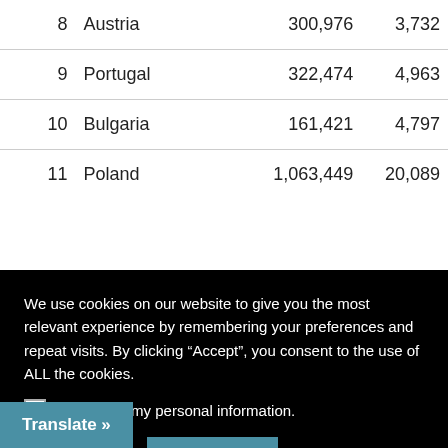| # | Country | Col3 | Col4 |
| --- | --- | --- | --- |
| 8 | Austria | 300,976 | 3,732 |
| 9 | Portugal | 322,474 | 4,963 |
| 10 | Bulgaria | 161,421 | 4,797 |
| 11 | Poland | 1,063,449 | 20,089 |
We use cookies on our website to give you the most relevant experience by remembering your preferences and repeat visits. By clicking “Accept”, you consent to the use of ALL the cookies.
Do not sell my personal information.
Cookie settings   ACCEPT
| # | Country | Col3 | Col4 |
| --- | --- | --- | --- |
| 17 | Netherlands | 556,553 | 9,674 |
| 18 | Estonia | 14,978 | 131 |
| 19 | Slovakia | 116,731 | 996 |
Translate »